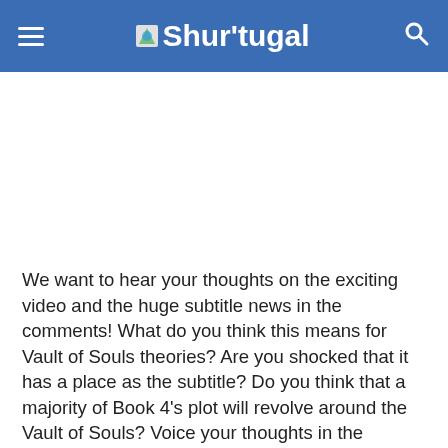Shur'tugal
[Figure (other): Blank advertisement / content area (white space)]
We want to hear your thoughts on the exciting video and the huge subtitle news in the comments! What do you think this means for Vault of Souls theories? Are you shocked that it has a place as the subtitle? Do you think that a majority of Book 4's plot will revolve around the Vault of Souls? Voice your thoughts in the comments!